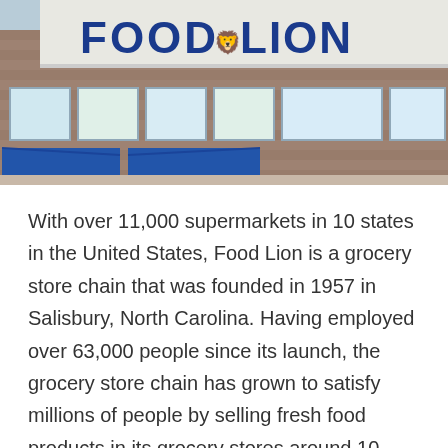[Figure (photo): Exterior photo of a Food Lion grocery store showing the storefront with brick facade, blue awnings, and the Food Lion logo sign in blue letters on a light background above the entrance windows.]
With over 11,000 supermarkets in 10 states in the United States, Food Lion is a grocery store chain that was founded in 1957 in Salisbury, North Carolina. Having employed over 63,000 people since its launch, the grocery store chain has grown to satisfy millions of people by selling fresh food products in its grocery stores around 10 states in the United States. For customers' convenience, it's important to know if Food Lion accepts Apple Pay as one of its payment methods across its stores.